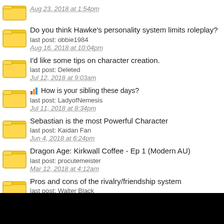Aug 23, 2018 at 1:54pm
Do you think Hawke's personality system limits roleplay?
last post: obbie1984
Aug 16, 2018 at 10:04pm
I'd like some tips on character creation.
last post: Deleted
Jul 12, 2018 at 9:03am
📊 How is your sibling these days?
last post: LadyofNemesis
Jul 11, 2018 at 8:34pm
Sebastian is the most Powerful Character
last post: Kaidan Fan
Jun 4, 2018 at 6:24pm
Dragon Age: Kirkwall Coffee - Ep 1 (Modern AU)
last post: procutemeister
Mar 12, 2018 at 4:12am
Pros and cons of the rivalry/friendship system
last post: Walter Black
Sep 16, 2017 at 7:55pm